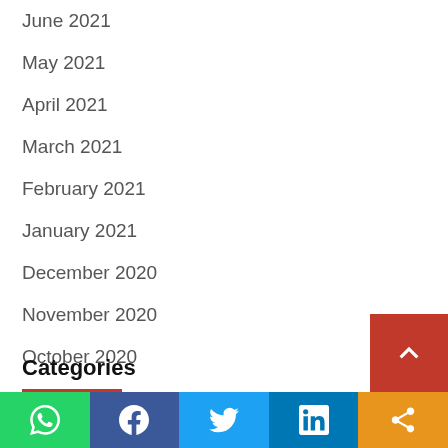June 2021
May 2021
April 2021
March 2021
February 2021
January 2021
December 2020
November 2020
October 2020
Categories